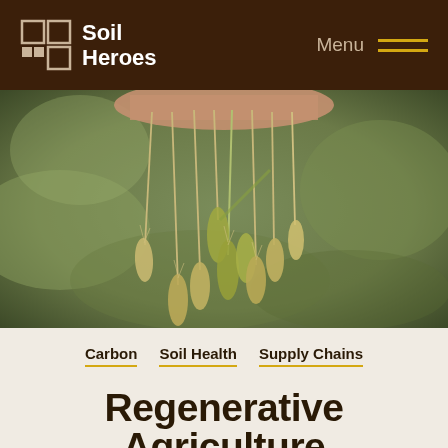Soil Heroes — Menu
[Figure (photo): Close-up photo of a hand holding multiple wheat/grain stalks with seed heads dangling down, set against a blurred green-brown background.]
Carbon   Soil Health   Supply Chains
Regenerative Agriculture